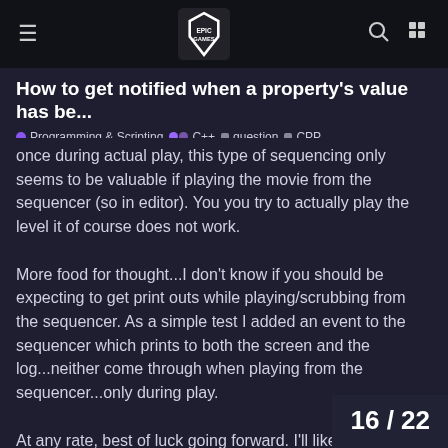Epic Games — hamburger menu, logo, search, grid icons
How to get notified when a property's value has be...
● Programming & Scripting  ●● C++  ■ question  ■ CPP  ...
once during actual play, this type of sequencing only seems to be valuable if playing the movie from the sequencer (so in editor). You you try to actually play the level it of course does not work.
More food for thought...I don't know if you should be expecting to get print outs while playing/scrubbing from the sequencer. As a simple test I added an event to the sequencer which prints to both the screen and the log...neither come through when playing from the sequencer...only during play.
At any rate, best of luck going forward. I'll likely poke at this on the side over the next co I'm sure you need to get moving if
16 / 22